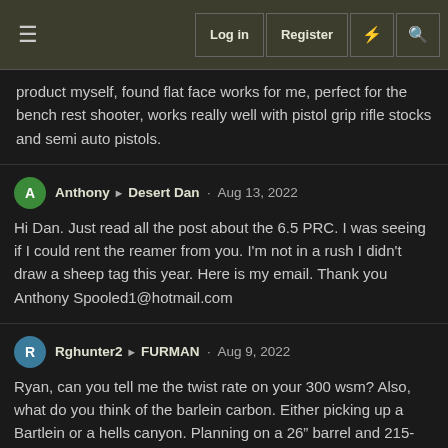Log in | Register
product myself, found flat face works for me, perfect for the bench rest shooter, works really well with pistol grip rifle stocks and semi auto pistols.
Anthony ▷ Desert Dan · Aug 13, 2022
Hi Dan. Just read all the post about the 6.5 PRC. I was seeing if I could rent the reamer from you. I'm not in a rush I didn't draw a sheep tag this year. Here is my email. Thank you Anthony Spooled1@hotmail.com
Rghunter2 ▷ FURMAN · Aug 9, 2022
Ryan, can you tell me the twist rate on your 300 wsm? Also, what do you think of the barlein carbon. Either picking up a Bartlein or a hells canyon. Planning on a 26" barrel and 215-230s. Thanks.
FURMAN
It's a 9. I have no experience with bartlein carbons. I have had two hcas that shoot.